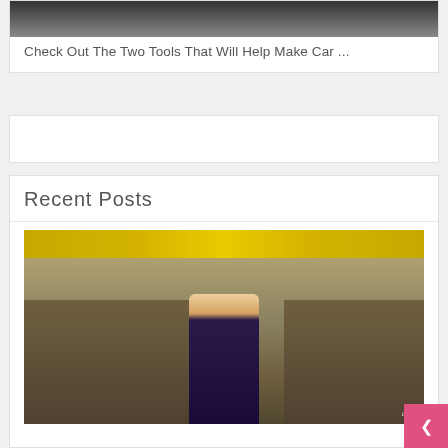[Figure (photo): Close-up photo of hands, partial view at top of card]
Check Out The Two Tools That Will Help Make Car ...
[Figure (other): Advertisement banner placeholder]
Recent Posts
[Figure (photo): Photo of a flight attendant standing in an airplane cabin aisle, smiling, wearing a dark purple uniform with blue scarf. Yellow overhead lighting visible. ABC watermark in bottom right.]